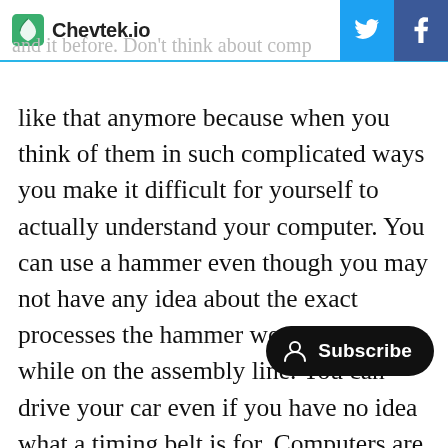Chevtek.io
like that anymore because when you think of them in such complicated ways you make it difficult for yourself to actually understand your computer. You can use a hammer even though you may not have any idea about the exact processes the hammer went through while on the assembly line. You can drive your car even if you have no idea what a timing belt is for. Computers are no different; you can use a computer to accomplish many tasks even if you have no idea how those 1's and 0's work. I am a programmer for a living, and even I still don't fully understand machine code. So if I can use a computer without fully understanding it on every level, then you can too, at risk...